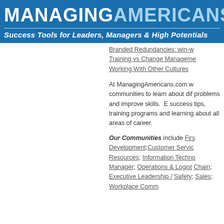MANAGINGAMERICANS.com — Success Tools for Leaders, Managers & High Potentials
Branded Redundancies: win-w...
Training vs Change Manageme...
Working With Other Cultures
At ManagingAmericans.com w... communities to learn about dif... problems and improve skills. ... success tips, training programs... and learning about all areas of ... career.
Our Communities include Firs... Development;Customer Servic... Resources; Information Techno... Manager; Operations & Logist... Chain; Executive Leadership /... Safety; Sales; Workplace Comm...